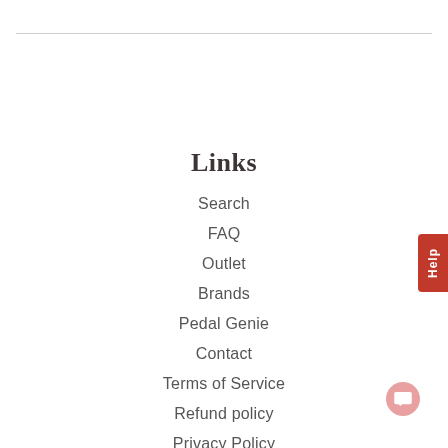Links
Search
FAQ
Outlet
Brands
Pedal Genie
Contact
Terms of Service
Refund policy
Privacy Policy